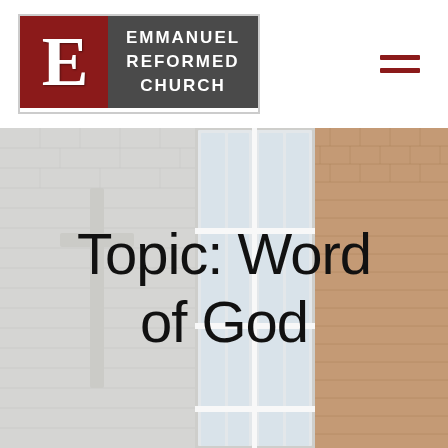[Figure (logo): Emmanuel Reformed Church logo: red square with large letter E, dark grey rectangle with church name]
[Figure (illustration): Hamburger/menu icon made of two dark red horizontal bars]
[Figure (photo): Church building exterior showing white brick wall with large cross, tall white-framed windows, and red brick wall on right side]
Topic: Word of God